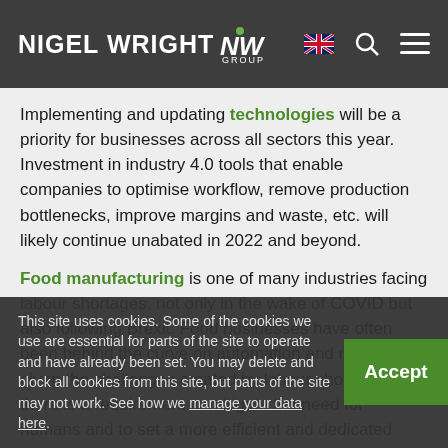NIGEL WRIGHT GROUP
Implementing and updating technologies will be a priority for businesses across all sectors this year. Investment in industry 4.0 tools that enable companies to optimise workflow, remove production bottlenecks, improve margins and waste, etc. will likely continue unabated in 2022 and beyond.
Food manufacturing is one of many industries facing labour shortages, not only in the wake of COVID but also following Brexit. Food businesses have often been behind the curve on automation and robotics but given the challenges created by labour shortages, there is a requirement to mitigate the need for humans and to set a more efficient and dedicated route for processes.
This site uses cookies. Some of the cookies we use are essential for parts of the site to operate and have already been set. You may delete and block all cookies from this site, but parts of the site may not work. See how we manage your data here.
Nigel Wright Interim Management